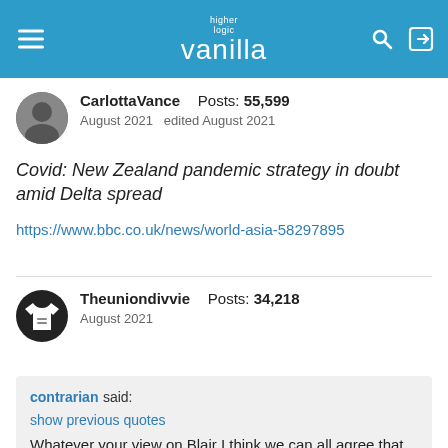higher logic vanilla
CarlottaVance  Posts: 55,599
August 2021  edited August 2021
Covid: New Zealand pandemic strategy in doubt amid Delta spread
https://www.bbc.co.uk/news/world-asia-58297895
Theuniondivvie  Posts: 34,218
August 2021
contrarian said:
show previous quotes
Whatever your view on Blair I think we can all agree that the last two days has shown that for